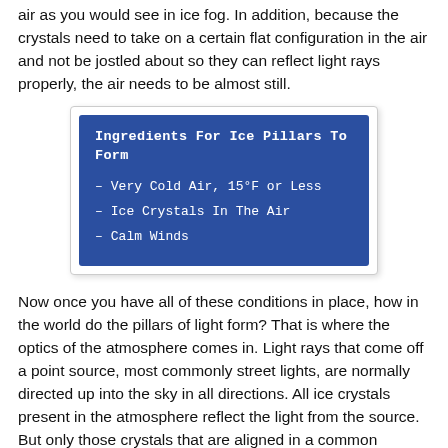air as you would see in ice fog. In addition, because the crystals need to take on a certain flat configuration in the air and not be jostled about so they can reflect light rays properly, the air needs to be almost still.
[Figure (infographic): A blue box titled 'Ingredients For Ice Pillars To Form' listing three items: Very Cold Air, 15°F or Less; Ice Crystals In The Air; Calm Winds]
Now once you have all of these conditions in place, how in the world do the pillars of light form? That is where the optics of the atmosphere comes in. Light rays that come off a point source, most commonly street lights, are normally directed up into the sky in all directions. All ice crystals present in the atmosphere reflect the light from the source. But only those crystals that are aligned in a common vertical plane will direct the light towards the observer. If a person is lucky enough and is at the right angle looking back toward the light source, their eyes will see light rays that have been reflected